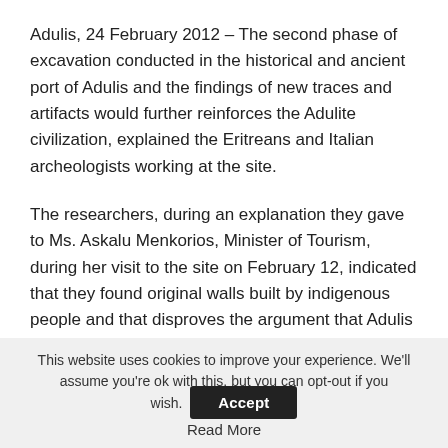Adulis, 24 February 2012 – The second phase of excavation conducted in the historical and ancient port of Adulis and the findings of new traces and artifacts would further reinforces the Adulite civilization, explained the Eritreans and Italian archeologists working at the site.
The researchers, during an explanation they gave to Ms. Askalu Menkorios, Minister of Tourism, during her visit to the site on February 12, indicated that they found original walls built by indigenous people and that disproves the argument that Adulis was not built by indigenous people.
This website uses cookies to improve your experience. We'll assume you're ok with this, but you can opt-out if you wish. Accept Read More